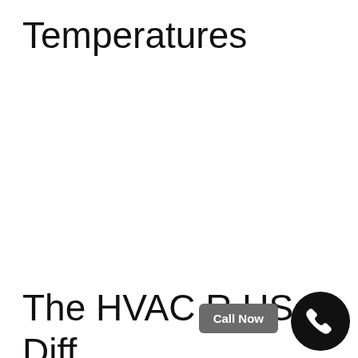Temperatures
The HVAC R US Diff
Call Now